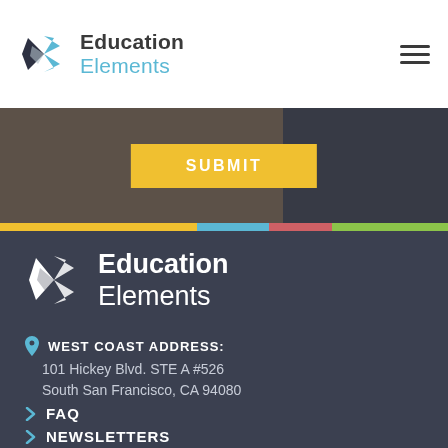Education Elements
[Figure (screenshot): Yellow SUBMIT button on dark brownish background with dark overlay on right side]
[Figure (logo): Education Elements logo in white on dark background]
WEST COAST ADDRESS:
101 Hickey Blvd. STE A #526
South San Francisco, CA 94080
FAQ
NEWSLETTERS